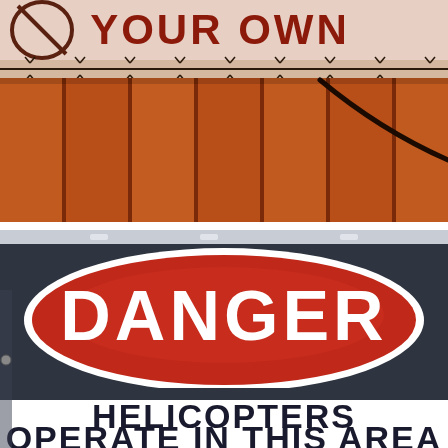[Figure (photo): Top portion: a partly visible sign with dark red text reading 'YOUR OWN' on a light background, with barbed wire below it, and below that an orange-brown corrugated metal/rust surface with dark vertical lines and a curved black wire or cable.]
[Figure (photo): Bottom portion: a danger warning sign on a dark gray/navy background. A large red oval with white outline contains bold white text 'DANGER'. Below the oval, bold dark text reads 'HELICOPTERS' and below that 'OPERATE IN THIS AREA' (partially visible).]